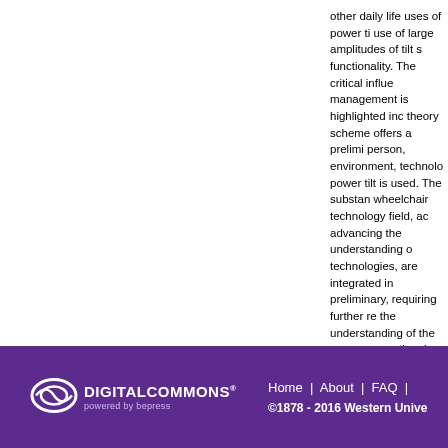other daily life uses of power tilt use of large amplitudes of tilt s functionality. The critical influe management is highlighted inc theory scheme offers a prelimi person, environment, technolo power tilt is used. The substan wheelchair technology field, ac advancing the understanding o technologies, are integrated in preliminary, requiring further re the understanding of the perso occupational science.
Recommended Citation
Titus, Laura C., "How power tilt is adults who use power tilt and the and Dissertation Repository. 1321 https://ir.lib.uwo.ca/etd/1321
[Figure (logo): Digital Commons powered by bepress logo in white on purple background]
Home | About | FAQ | ©1878 - 2016 Western Unive